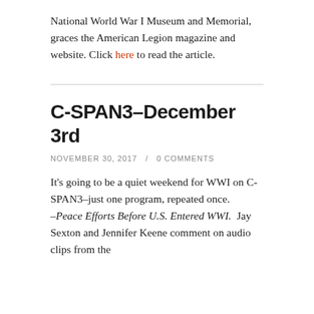National World War I Museum and Memorial, graces the American Legion magazine and website. Click here to read the article.
C-SPAN3–December 3rd
NOVEMBER 30, 2017 / 0 COMMENTS
It's going to be a quiet weekend for WWI on C-SPAN3–just one program, repeated once.
–Peace Efforts Before U.S. Entered WWI.  Jay Sexton and Jennifer Keene comment on audio clips from the